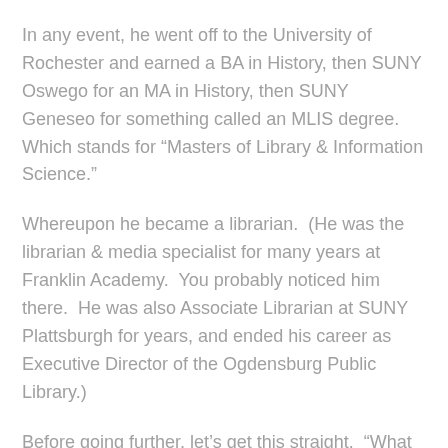In any event, he went off to the University of Rochester and earned a BA in History, then SUNY Oswego for an MA in History, then SUNY Geneseo for something called an MLIS degree.  Which stands for "Masters of Library & Information Science."
Whereupon he became a librarian.  (He was the librarian & media specialist for many years at Franklin Academy.  You probably noticed him there.  He was also Associate Librarian at SUNY Plattsburgh for years, and ended his career as Executive Director of the Ogdensburg Public Library.)
Before going further, let’s get this straight.  “What do librarians do?”  If you’re thinking, “They gather, organize, and make available information on virtually every topic under the sun” – you’re right on the money!  The key words are